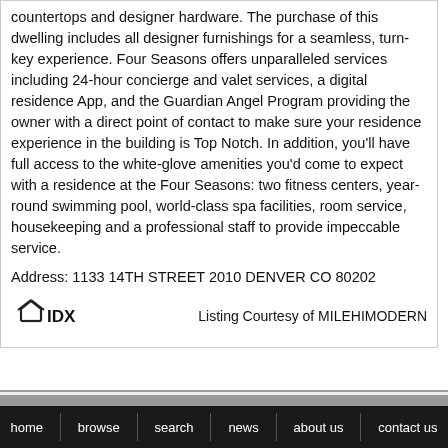countertops and designer hardware. The purchase of this dwelling includes all designer furnishings for a seamless, turn-key experience. Four Seasons offers unparalleled services including 24-hour concierge and valet services, a digital residence App, and the Guardian Angel Program providing the owner with a direct point of contact to make sure your residence experience in the building is Top Notch. In addition, you'll have full access to the white-glove amenities you'd come to expect with a residence at the Four Seasons: two fitness centers, year-round swimming pool, world-class spa facilities, room service, housekeeping and a professional staff to provide impeccable service.
Address: 1133 14TH STREET 2010 DENVER CO 80202
[Figure (logo): IDX logo — house outline with IDX text]
Listing Courtesy of MILEHIMODERN
home   browse   search   news   about us   contact us